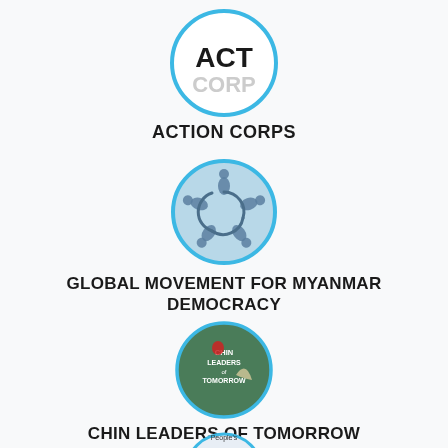[Figure (logo): Action Corps logo: circle with blue border containing text ACT CORPS]
ACTION CORPS
[Figure (logo): Global Movement for Myanmar Democracy logo: blue circle with interconnected figures/arrows in blue-grey]
GLOBAL MOVEMENT FOR MYANMAR DEMOCRACY
[Figure (logo): Chin Leaders of Tomorrow logo: green circle with flower and bird silhouette and text CHIN LEADERS OF TOMORROW]
CHIN LEADERS OF TOMORROW
[Figure (logo): Partial logo at bottom: blue circle partially visible with People's text]